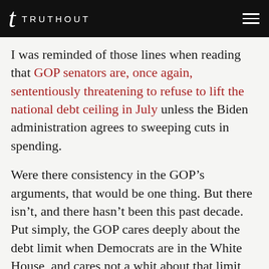TRUTHOUT
I was reminded of those lines when reading that GOP senators are, once again, sententiously threatening to refuse to lift the national debt ceiling in July unless the Biden administration agrees to sweeping cuts in spending.
Were there consistency in the GOP’s arguments, that would be one thing. But there isn’t, and there hasn’t been this past decade. Put simply, the GOP cares deeply about the debt limit when Democrats are in the White House, and cares not a whit about that limit when the commander-